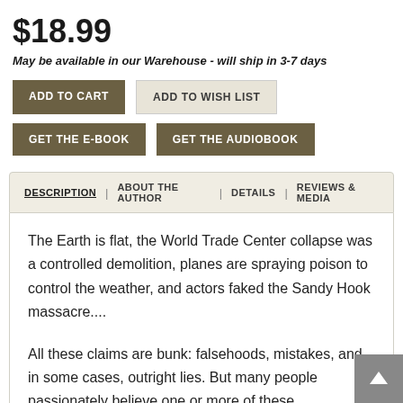$18.99
May be available in our Warehouse - will ship in 3-7 days
ADD TO CART | ADD TO WISH LIST | GET THE E-BOOK | GET THE AUDIOBOOK
DESCRIPTION | ABOUT THE AUTHOR | DETAILS | REVIEWS & MEDIA
The Earth is flat, the World Trade Center collapse was a controlled demolition, planes are spraying poison to control the weather, and actors faked the Sandy Hook massacre....
All these claims are bunk: falsehoods, mistakes, and in some cases, outright lies. But many people passionately believe one or more of these